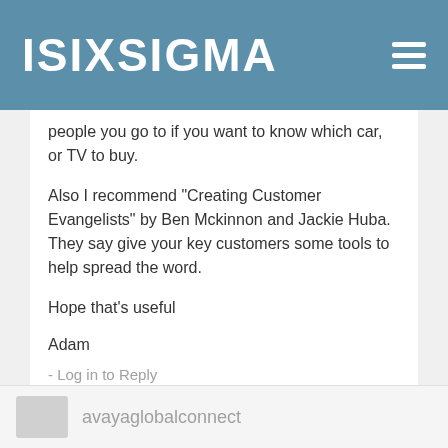ISIXSIGMA
people you go to if you want to know which car, or TV to buy.
Also I recommend "Creating Customer Evangelists" by Ben Mckinnon and Jackie Huba. They say give your key customers some tools to help spread the word.
Hope that's useful
Adam
- Log in to Reply
avayaglobalconnect